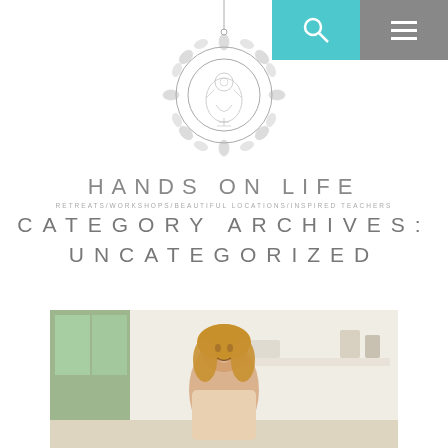[Figure (logo): Hands on Life logo: a decorative mandala/pendant hanging from a thin line, with text 'HANDS ON LIFE' and tagline 'Retreats/Workshops/Beautiful Locations/Inspired Teachers']
CATEGORY ARCHIVES: UNCATEGORIZED
[Figure (photo): A smiling blonde woman in a bright, white-walled room with shelving visible behind her]